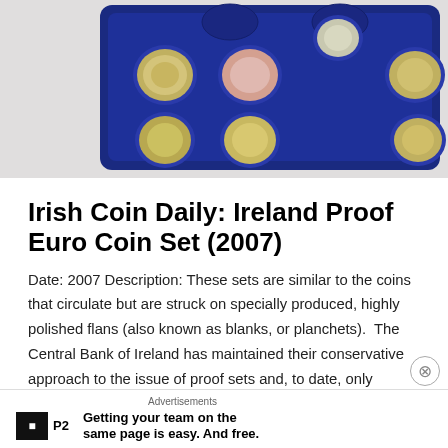[Figure (photo): A blue velvet coin display tray holding multiple Irish euro coins arranged in a grid, photographed on a white background.]
Irish Coin Daily: Ireland Proof Euro Coin Set (2007)
Date: 2007 Description: These sets are similar to the coins that circulate but are struck on specially produced, highly polished flans (also known as blanks, or planchets).  The Central Bank of Ireland has maintained their conservative approach to the issue of proof sets and, to date, only seven… Continue reading →
Advertisements
Getting your team on the same page is easy. And free.